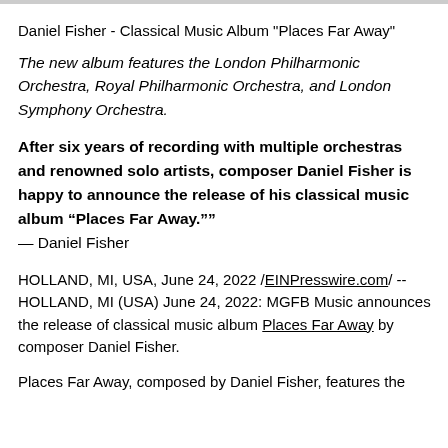Daniel Fisher - Classical Music Album "Places Far Away"
The new album features the London Philharmonic Orchestra, Royal Philharmonic Orchestra, and London Symphony Orchestra.
After six years of recording with multiple orchestras and renowned solo artists, composer Daniel Fisher is happy to announce the release of his classical music album “Places Far Away.””
— Daniel Fisher
HOLLAND, MI, USA, June 24, 2022 /EINPresswire.com/ -- HOLLAND, MI (USA) June 24, 2022: MGFB Music announces the release of classical music album Places Far Away by composer Daniel Fisher.
Places Far Away, composed by Daniel Fisher, features the